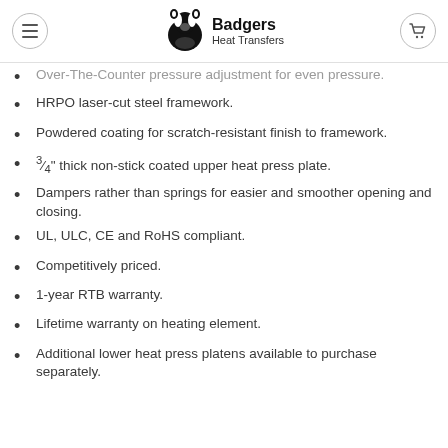Badgers Heat Transfers
Over-The-Counter pressure adjustment for even pressure.
HRPO laser-cut steel framework.
Powdered coating for scratch-resistant finish to framework.
¾" thick non-stick coated upper heat press plate.
Dampers rather than springs for easier and smoother opening and closing.
UL, ULC, CE and RoHS compliant.
Competitively priced.
1-year RTB warranty.
Lifetime warranty on heating element.
Additional lower heat press platens available to purchase separately.